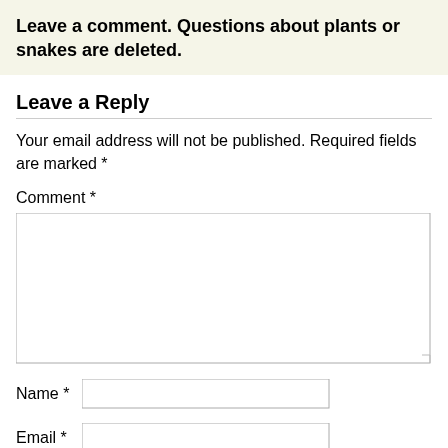Leave a comment. Questions about plants or snakes are deleted.
Leave a Reply
Your email address will not be published. Required fields are marked *
Comment *
Name *
Email *